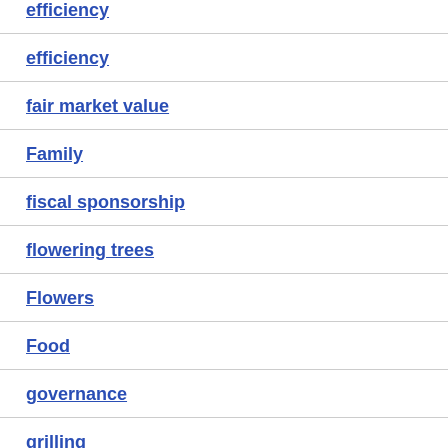efficiency
fair market value
Family
fiscal sponsorship
flowering trees
Flowers
Food
governance
grilling